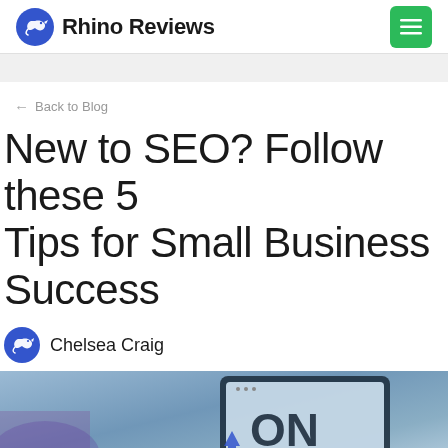Rhino Reviews
← Back to Blog
New to SEO? Follow these 5 Tips for Small Business Success
Chelsea Craig
[Figure (photo): Hero image showing a tablet/device screen with the text 'ONL' visible, overlaid on a blue-toned background]